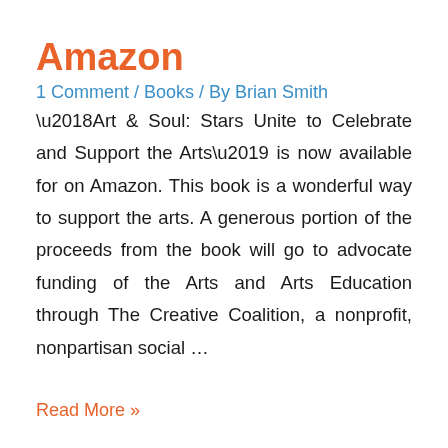Amazon
1 Comment / Books / By Brian Smith
‘Art & Soul: Stars Unite to Celebrate and Support the Arts’ is now available for on Amazon. This book is a wonderful way to support the arts. A generous portion of the proceeds from the book will go to advocate funding of the Arts and Arts Education through The Creative Coalition, a nonprofit, nonpartisan social …
Read More »